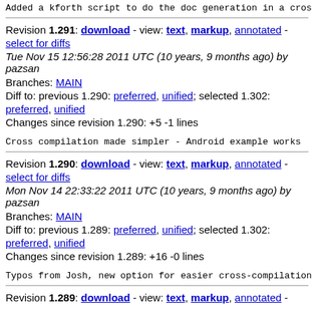Added a kforth script to do the doc generation in a cross
Revision 1.291: download - view: text, markup, annotated - select for diffs
Tue Nov 15 12:56:28 2011 UTC (10 years, 9 months ago) by
pazsan
Branches: MAIN
Diff to: previous 1.290: preferred, unified; selected 1.302:
preferred, unified
Changes since revision 1.290: +5 -1 lines
Cross compilation made simpler - Android example works
Revision 1.290: download - view: text, markup, annotated - select for diffs
Mon Nov 14 22:33:22 2011 UTC (10 years, 9 months ago) by
pazsan
Branches: MAIN
Diff to: previous 1.289: preferred, unified; selected 1.302:
preferred, unified
Changes since revision 1.289: +16 -0 lines
Typos from Josh, new option for easier cross-compilation
Revision 1.289: download - view: text, markup, annotated -